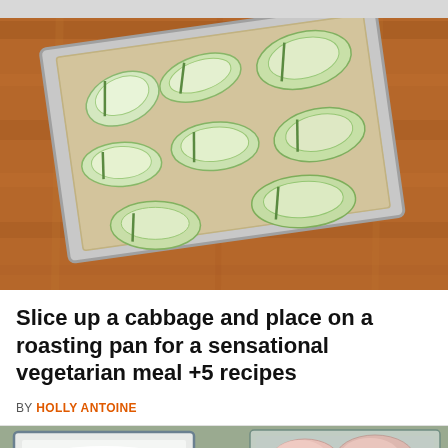[Figure (photo): A baking sheet lined with parchment paper, holding multiple wedges of sliced green cabbage arranged in rows, photographed from above on a wooden surface.]
Slice up a cabbage and place on a roasting pan for a sensational vegetarian meal +5 recipes
BY HOLLY ANTOINE
[Figure (photo): Bottom portion showing two containers — one white square dish with white powder/flour and one glass dish with raw chicken pieces, placed on a wooden surface.]